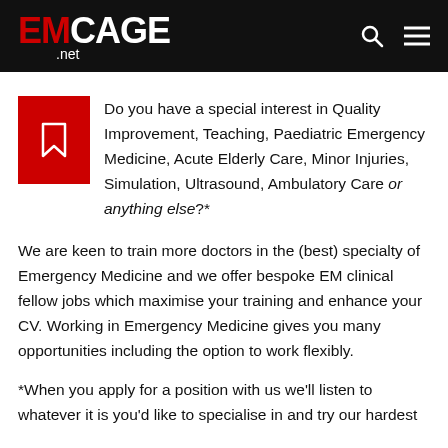EMCage.net
Do you have a special interest in Quality Improvement, Teaching, Paediatric Emergency Medicine, Acute Elderly Care, Minor Injuries, Simulation, Ultrasound, Ambulatory Care or anything else?*
We are keen to train more doctors in the (best) specialty of Emergency Medicine and we offer bespoke EM clinical fellow jobs which maximise your training and enhance your CV. Working in Emergency Medicine gives you many opportunities including the option to work flexibly.
*When you apply for a position with us we'll listen to whatever it is you'd like to specialise in and try our hardest